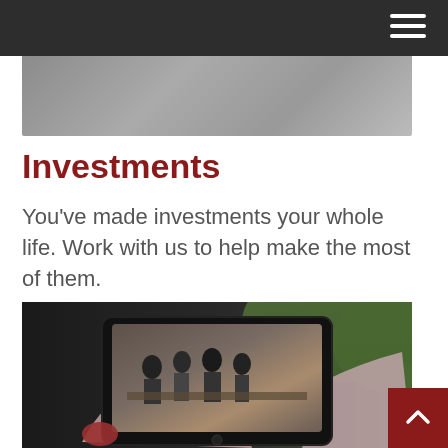[Figure (photo): Partially visible image at top behind navigation bar]
Investments
You’ve made investments your whole life. Work with us to help make the most of them.
[Figure (photo): Person holding a tablet displaying a business meeting scene, with green foliage in the background. Red back-to-top arrow button in bottom right corner.]